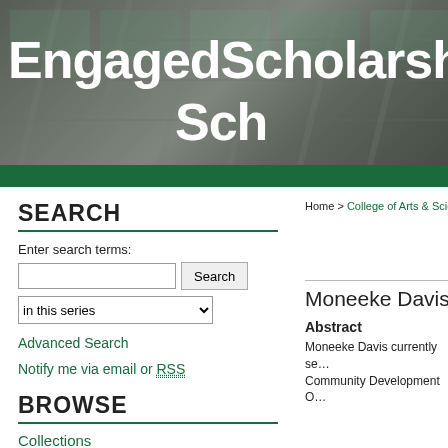[Figure (photo): University building header image with 'EngagedScholarship@' text overlay]
SEARCH
Enter search terms:
Search | in this series
Advanced Search
Notify me via email or RSS
BROWSE
Collections
Home > College of Arts & Science
Moneeke Davis i
Abstract
Moneeke Davis currently se… Community Development O…